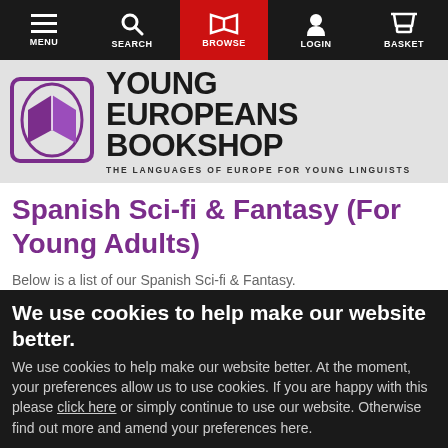MENU | SEARCH | BROWSE | LOGIN | BASKET
[Figure (logo): Young Europeans Bookshop logo with purple open book icon and bold text reading YOUNG EUROPEANS BOOKSHOP, subtitle THE LANGUAGES OF EUROPE FOR YOUNG LINGUISTS]
Spanish Sci-fi & Fantasy (For Young Adults)
Below is a list of our Spanish Sci-fi & Fantasy.
We use cookies to help make our website better.
We use cookies to help make our website better. At the moment, your preferences allow us to use cookies. If you are happy with this please click here or simply continue to use our website. Otherwise find out more and amend your preferences here.